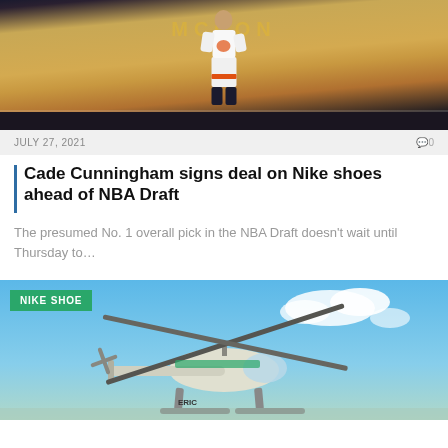[Figure (photo): Basketball player in white and orange uniform standing on a hardwood court with yellow arena signage in the background]
JULY 27, 2021   0 0
Cade Cunningham signs deal on Nike shoes ahead of NBA Draft
The presumed No. 1 overall pick in the NBA Draft doesn't wait until Thursday to…
[Figure (photo): Helicopter flying against a blue sky with white clouds, with a green NIKE SHOE badge overlay in the top left]